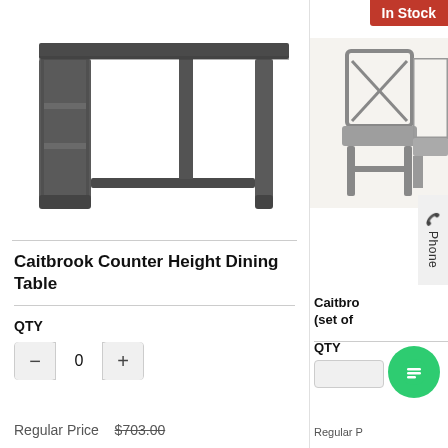[Figure (photo): Photo of a dark gray/espresso Caitbrook Counter Height Dining Table with built-in shelves on one side, shown on white background]
Caitbrook Counter Height Dining Table
QTY
- 0 +
Regular Price $703.00
In Stock
[Figure (photo): Photo of gray Caitbrook dining chairs]
Phone
Caitbrook (set of
QTY
Regular P